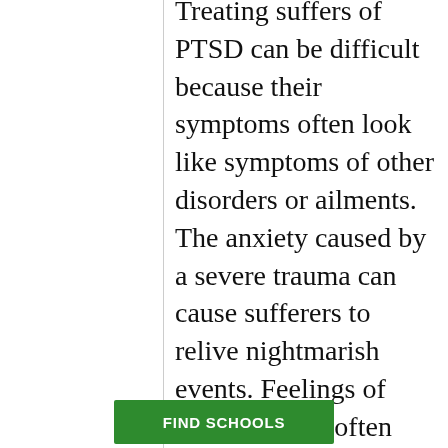Treating suffers of PTSD can be difficult because their symptoms often look like symptoms of other disorders or ailments. The anxiety caused by a severe trauma can cause sufferers to relive nightmarish events. Feelings of anger or grief often become so overwhelming that they interfere with daily life. Mental health treatment of these individuals needs to be sensitive, and training in de-escalation is important for those treating PTSD sufferers.
FIND SCHOOLS